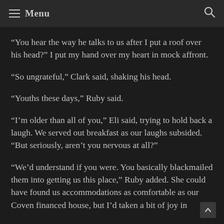≡ Menu
“You hear the way he talks to us after I put a roof over his head?” I put my hand over my heart in mock affront.
“So ungrateful,” Clark said, shaking his head.
“Youths these days,” Ruby said.
“I’m older than all of you,” Eli said, trying to hold back a laugh. We served out breakfast as our laughs subsided. “But seriously, aren’t you nervous at all?”
“We’d understand if you were. You basically blackmailed them into getting us this place,” Ruby added. She could have found us accommodations as comfortable as our Coven financed house, but I’d taken a bit of joy in